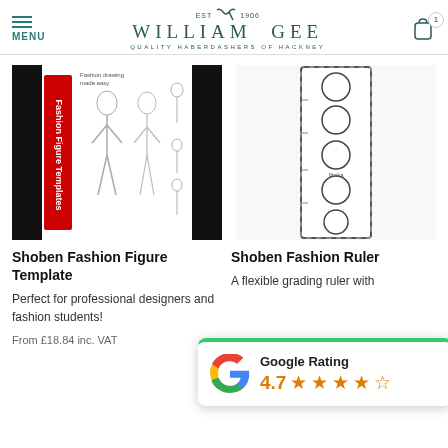MENU | WILLIAM GEE | EST 1906 | QUALITY HABERDASHERS OF HACKNEY | Cart: 1
[Figure (photo): Shoben Fashion Figure Templates book cover showing female fashion figure drawing templates]
[Figure (photo): Shoben Fashion Ruler - a narrow vertical ruler with circles for grading]
Shoben Fashion Figure Template
Shoben Fashion Ruler
Perfect for professional designers and fashion students!
A flexible grading ruler with
From £18.84 inc. VAT
[Figure (infographic): Google Rating popup showing 4.7 stars out of 5 with star icons]